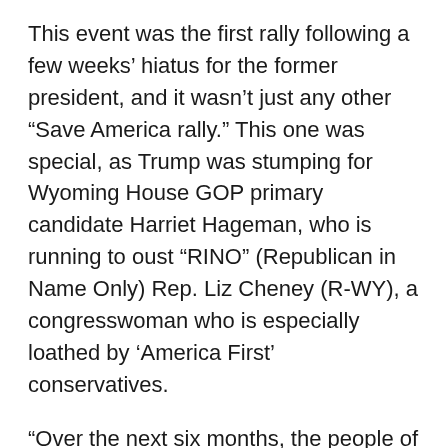This event was the first rally following a few weeks' hiatus for the former president, and it wasn't just any other “Save America rally.” This one was special, as Trump was stumping for Wyoming House GOP primary candidate Harriet Hageman, who is running to oust “RINO” (Republican in Name Only) Rep. Liz Cheney (R-WY), a congresswoman who is especially loathed by ‘America First’ conservatives.
“Over the next six months, the people of Wyoming are going to vote to dump your RINO congresswoman Liz Cheney,” he said. “And you’re going to send the incredible Harriet